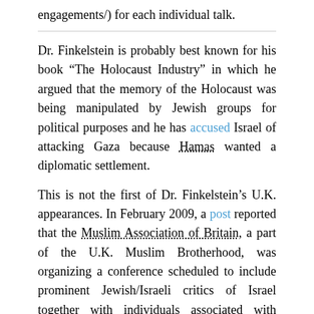(http://…normanfinkelstein.com/speaking-engagements/) for each individual talk.
Dr. Finkelstein is probably best known for his book “The Holocaust Industry” in which he argued that the memory of the Holocaust was being manipulated by Jewish groups for political purposes and he has accused Israel of attacking Gaza because Hamas wanted a diplomatic settlement.
This is not the first of Dr. Finkelstein’s U.K. appearances. In February 2009, a post reported that the Muslim Association of Britain, a part of the U.K. Muslim Brotherhood, was organizing a conference scheduled to include prominent Jewish/Israeli critics of Israel together with individuals associated with Hamas. Dr. Finkelstein was identified as one of those critics.
Another earlier post featured a statement by Ikhwanophobia, an Egyptian Muslim Brotherhood front website, that explained how the Brotherhood had “affable relations” with Jewish